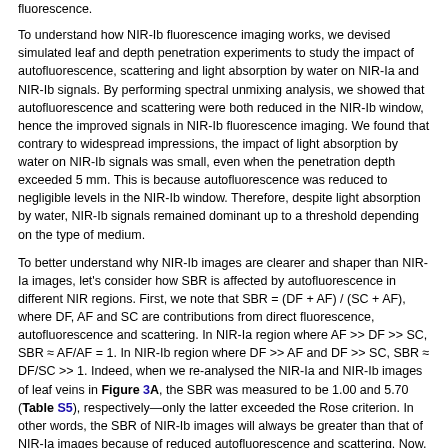fluorescence.
To understand how NIR-Ib fluorescence imaging works, we devised simulated leaf and depth penetration experiments to study the impact of autofluorescence, scattering and light absorption by water on NIR-Ia and NIR-Ib signals. By performing spectral unmixing analysis, we showed that autofluorescence and scattering were both reduced in the NIR-Ib window, hence the improved signals in NIR-Ib fluorescence imaging. We found that contrary to widespread impressions, the impact of light absorption by water on NIR-Ib signals was small, even when the penetration depth exceeded 5 mm. This is because autofluorescence was reduced to negligible levels in the NIR-Ib window. Therefore, despite light absorption by water, NIR-Ib signals remained dominant up to a threshold depending on the type of medium.
To better understand why NIR-Ib images are clearer and shaper than NIR-Ia images, let's consider how SBR is affected by autofluorescence in different NIR regions. First, we note that SBR = (DF + AF) / (SC + AF), where DF, AF and SC are contributions from direct fluorescence, autofluorescence and scattering. In NIR-Ia region where AF >> DF >> SC, SBR ≈ AF/AF = 1. In NIR-Ib region where DF >> AF and DF >> SC, SBR ≈ DF/SC >> 1. Indeed, when we re-analysed the NIR-Ia and NIR-Ib images of leaf veins in Figure 3A, the SBR was measured to be 1.00 and 5.70 (Table S5), respectively—only the latter exceeded the Rose criterion. In other words, the SBR of NIR-Ib images will always be greater than that of NIR-Ia images because of reduced autofluorescence and scattering. Now, the commonly used NIR-Ia dyes, such as ICG, IR-783 and IR-806, are all excited by NIR light (mostly around 800 nm). Although the excitation wavelength at the NIR light can cause lower autofluorescence, scattering and higher penetration depth in biological tissues than that of visible light, the biological tissues absorption and tissue autofluorescence and reduced